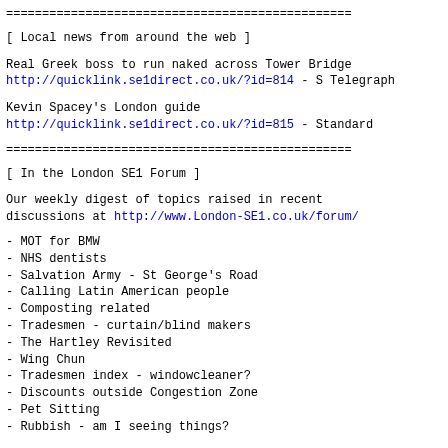=======================================================
[ Local news from around the web ]
Real Greek boss to run naked across Tower Bridge
http://quicklink.se1direct.co.uk/?id=814 - S Telegraph
Kevin Spacey's London guide
http://quicklink.se1direct.co.uk/?id=815 - Standard
=======================================================
[ In the London SE1 Forum ]
Our weekly digest of topics raised in recent
discussions at http://www.London-SE1.co.uk/forum/
- MOT for BMW
- NHS dentists
- Salvation Army - St George's Road
- Calling Latin American people
- Composting related
- Tradesmen - curtain/blind makers
- The Hartley Revisited
- Wing Chun
- Tradesmen index - windowcleaner?
- Discounts outside Congestion Zone
- Pet Sitting
- Rubbish - am I seeing things?